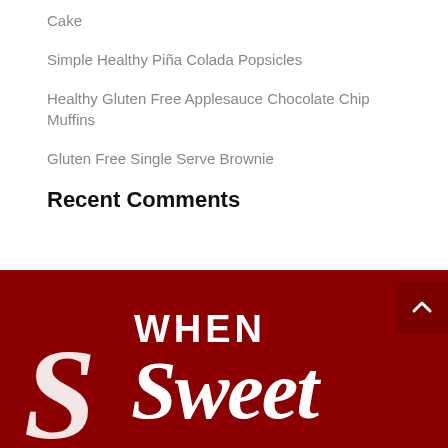Cake
Simple Healthy Piña Colada Popsicles
Healthy Gluten Free Applesauce Chocolate Chip Muffins
Gluten Free Single Serve Brownie
Recent Comments
[Figure (logo): When Sweet logo in white script text on dark red background]